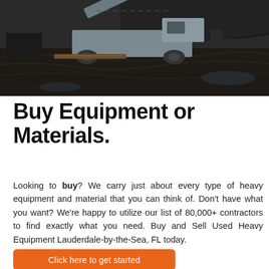[Figure (photo): Outdoor industrial scene showing heavy construction/mining equipment — a large conveyor belt machine on muddy, dark soil with tracks and debris visible in the background]
Buy Equipment or Materials.
Looking to buy? We carry just about every type of heavy equipment and material that you can think of. Don't have what you want? We're happy to utilize our list of 80,000+ contractors to find exactly what you need. Buy and Sell Used Heavy Equipment Lauderdale-by-the-Sea, FL today.
Click here to get started